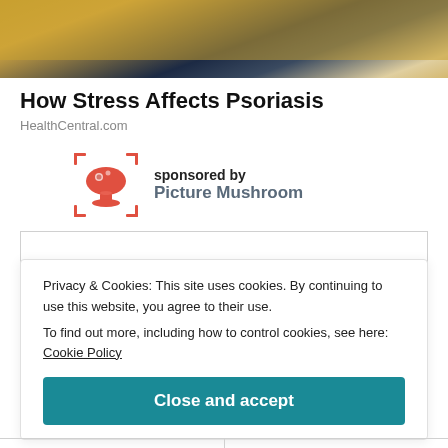[Figure (photo): Cropped top portion of a photo showing a person in yellow clothing seated, partially visible]
How Stress Affects Psoriasis
HealthCentral.com
[Figure (logo): Picture Mushroom app icon with red mushroom logo inside a square bracket/scan frame, sponsored by label]
Privacy & Cookies: This site uses cookies. By continuing to use this website, you agree to their use.
To find out more, including how to control cookies, see here: Cookie Policy
Close and accept